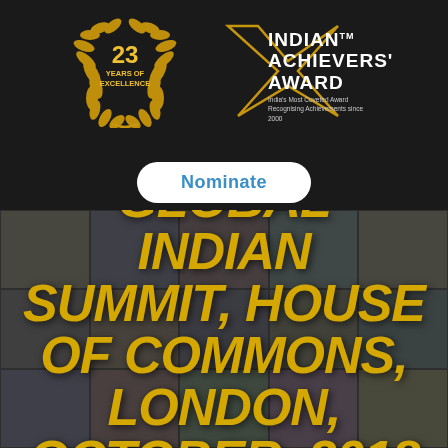[Figure (logo): Indian Achievers' Award logo with wreath badge showing '23 YEARS OF EXCELLENCE' and star logo with text 'INDIAN ACHIEVERS' AWARD TM - India's Most Coveted Award Recognising Achievements since 2000']
Nominate
GLOBAL INDIAN SUMMIT, HOUSE OF COMMONS, LONDON, OCTOBER, 2018